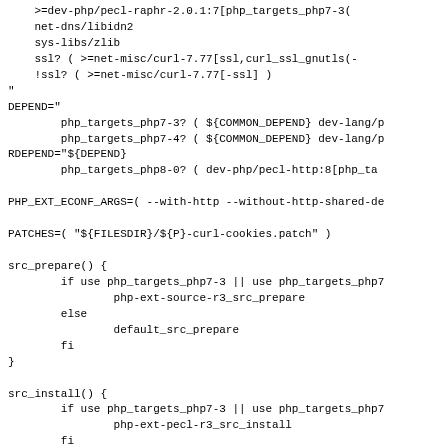>=dev-php/pecl-raphr-2.0.1:7[php_targets_php7-3(
net-dns/libidn2
sys-libs/zlib
ssl? ( >=net-misc/curl-7.77[ssl,curl_ssl_gnutls(+
!ssl? ( >=net-misc/curl-7.77[-ssl] )
"
DEPEND="
        php_targets_php7-3? ( ${COMMON_DEPEND} dev-lang/p
        php_targets_php7-4? ( ${COMMON_DEPEND} dev-lang/p
RDEPEND="${DEPEND}
        php_targets_php8-0? ( dev-php/pecl-http:8[php_ta

PHP_EXT_ECONF_ARGS=( --with-http --without-http-shared-de

PATCHES=( "${FILESDIR}/${P}-curl-cookies.patch" )

src_prepare() {
        if use php_targets_php7-3 || use php_targets_php7
                php-ext-source-r3_src_prepare
        else
                default_src_prepare
        fi
}

src_install() {
        if use php_targets_php7-3 || use php_targets_php7
                php-ext-pecl-r3_src_install
        fi
}